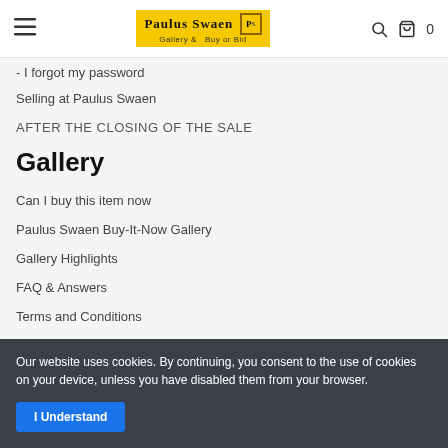Paulus Swaen Gallery & Buy or Bid
- I forgot my password
Selling at Paulus Swaen
AFTER THE CLOSING OF THE SALE
Gallery
Can I buy this item now
Paulus Swaen Buy-It-Now Gallery
Gallery Highlights
FAQ & Answers
Terms and Conditions
Contact Us
Helpful Links
Our website uses cookies. By continuing, you consent to the use of cookies on your device, unless you have disabled them from your browser.
I Understand